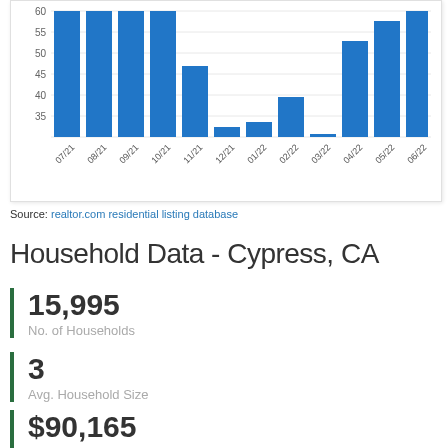[Figure (bar-chart): Monthly listings]
Source: realtor.com residential listing database
Household Data - Cypress, CA
15,995
No. of Households
3
Avg. Household Size
$90,165
Median Household